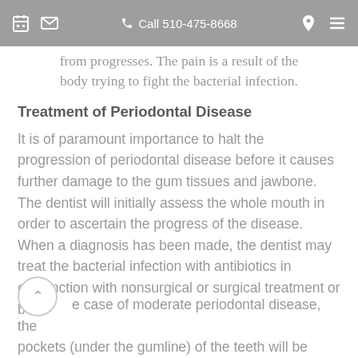Call 510-475-8668
from progresses. The pain is a result of the body trying to fight the bacterial infection.
Treatment of Periodontal Disease
It is of paramount importance to halt the progression of periodontal disease before it causes further damage to the gum tissues and jawbone.  The dentist will initially assess the whole mouth in order to ascertain the progress of the disease.  When a diagnosis has been made, the dentist may treat the bacterial infection with antibiotics in conjunction with nonsurgical or surgical treatment or both.
e case of moderate periodontal disease, the pockets (under the gumline) of the teeth will be